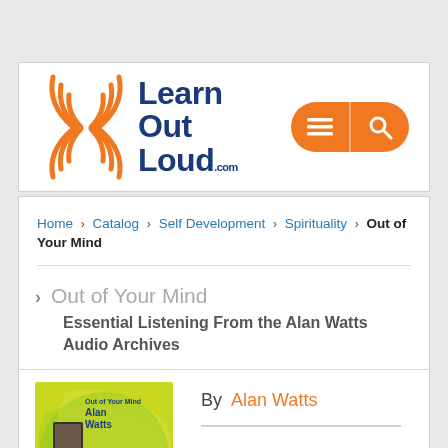[Figure (logo): Learn Out Loud .com logo with orange sound wave arcs and dark blue bold text, alongside an orange pill-shaped navigation button with menu and search icons]
Home › Catalog › Self Development › Spirituality › Out of Your Mind
Out of Your Mind
Essential Listening From the Alan Watts Audio Archives
[Figure (illustration): Book cover for 'Out of Your Mind' by Alan Watts, green and yellow swirling background with dark figure and large question mark]
By Alan Watts